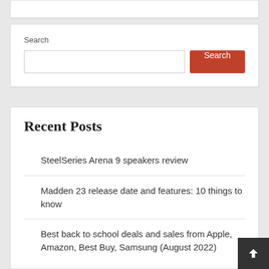Search
Search [input box] Search [button]
Recent Posts
SteelSeries Arena 9 speakers review
Madden 23 release date and features: 10 things to know
Best back to school deals and sales from Apple, Amazon, Best Buy, Samsung (August 2022)